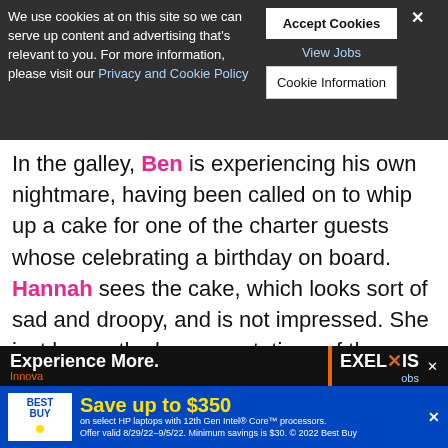We use cookies at on this site so we can serve up content and advertising that's relevant to you. For more information, please visit our Privacy and Cookie Policy
Accept Cookies | View Jobs | Cookie Information
Experience More... second charter?
In the galley, Ben is experiencing his own nightmare, having been called on to whip up a cake for one of the charter guests whose celebrating a birthday on board. Hannah sees the cake, which looks sort of sad and droopy, and is not impressed. She just hopes the low expectations of these Tilted Kilt girls save the day – which, ultimately, they do. These chicks are
Experience More. Innova
EXELIXIS obs
[Figure (screenshot): Best Buy advertisement: Save up to $350 on select HP laptops with 12th Gen Intel Core processors. Offer valid 8/29/22-9/5/22. Minimum savings is $30. © 2022 Best Buy]